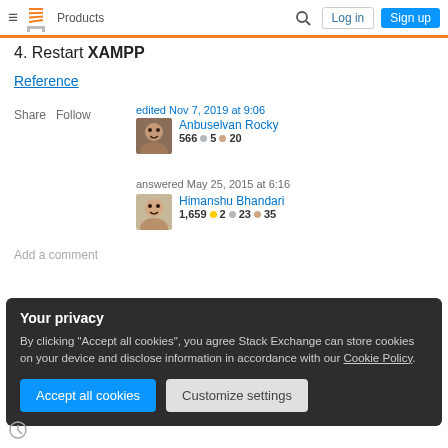≡  [logo] Products  🔍  Log in  Sign up
4. Restart XAMPP
Reference
Share   Follow
edited Nov 7, 2019 at 9:06
Anbuselvan Rocky
566 ● 5 ● 20
answered May 25, 2015 at 6:16
Himanshu Bhandari
1,659 ● 2 ● 23 ● 35
Add a comment
Your privacy
By clicking "Accept all cookies", you agree Stack Exchange can store cookies on your device and disclose information in accordance with our Cookie Policy.
Accept all cookies   Customize settings